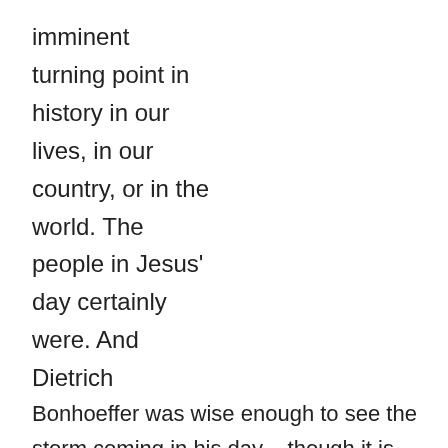imminent turning point in history in our lives, in our country, or in the world. The people in Jesus' day certainly were. And Dietrich Bonhoeffer was wise enough to see the storm coming in his day – though it is certain that many, many people didn't believe him, didn't agree with him, and didn't heed his warnings. They didn't heed the warnings in Jesus' day either.